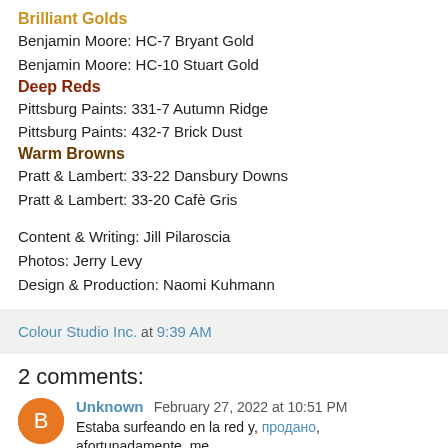Brilliant Golds
Benjamin Moore: HC-7 Bryant Gold
Benjamin Moore: HC-10 Stuart Gold
Deep Reds
Pittsburg Paints: 331-7 Autumn Ridge
Pittsburg Paints: 432-7 Brick Dust
Warm Browns
Pratt & Lambert: 33-22 Dansbury Downs
Pratt & Lambert: 33-20 Cafè Gris
Content & Writing: Jill Pilaroscia
Photos: Jerry Levy
Design & Production: Naomi Kuhmann
Colour Studio Inc. at 9:39 AM
2 comments:
Unknown February 27, 2022 at 10:51 PM
Estaba surfeando en la red y, afortunadamente, me...